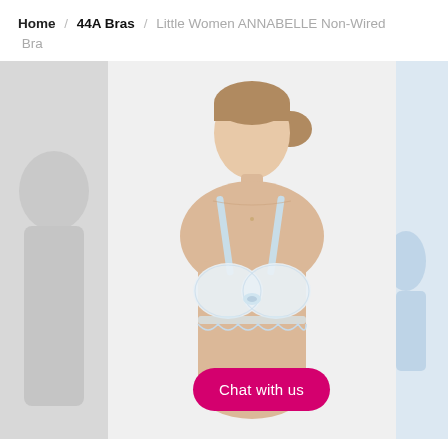Home / 44A Bras / Little Women ANNABELLE Non-Wired Bra
[Figure (photo): A woman wearing a white lace non-wired bra against a light grey background, shown from shoulders to waist. The bra has light blue lace overlay and thin straps. A pink/magenta 'Chat with us' button is overlaid in the bottom right area of the image. Partial views of adjacent product images are visible on the left and right edges.]